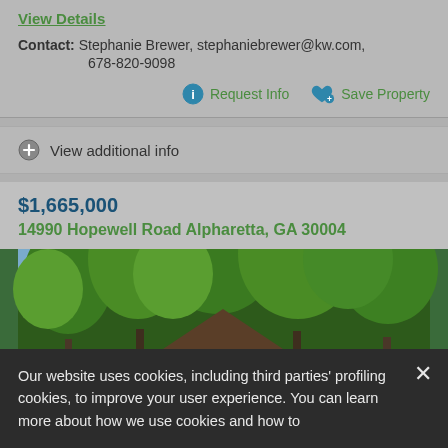View Details
Contact: Stephanie Brewer, stephaniebrewer@kw.com, 678-820-9098
Request Info
Save Property
View additional info
$1,665,000
14990 Hopewell Road Alpharetta, GA 30004
[Figure (photo): Exterior photo of a property at 14990 Hopewell Road, Alpharetta, GA showing a gazebo or covered structure surrounded by tall trees with green foliage]
Our website uses cookies, including third parties' profiling cookies, to improve your user experience. You can learn more about how we use cookies and how to